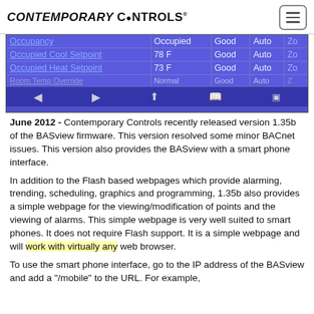CONTEMPORARY CONTROLS
[Figure (screenshot): Screenshot of BASview mobile interface showing a table with rows: Occupancy (Occupied, Good, Auto, Zo), Occupied Cool Setpoint (78 F, Good, Auto, Zo), Occupied Heat Setpoint (73 F, Good, Auto, Zo), Room Temp Override (Normal, Good, Auto, Z). Navigation bar at bottom with back/forward/share/bookmarks/tabs icons.]
June 2012 - Contemporary Controls recently released version 1.35b of the BASview firmware. This version resolved some minor BACnet issues. This version also provides the BASview with a smart phone interface.
In addition to the Flash based webpages which provide alarming, trending, scheduling, graphics and programming, 1.35b also provides a simple webpage for the viewing/modification of points and the viewing of alarms. This simple webpage is very well suited to smart phones. It does not require Flash support. It is a simple webpage and will work with virtually any web browser.
To use the smart phone interface, go to the IP address of the BASview and add a "/mobile" to the URL. For example,